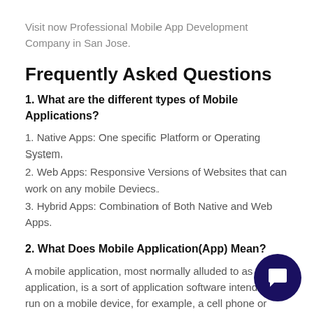Visit now Professional Mobile App Development Company in San Jose.
Frequently Asked Questions
1. What are the different types of Mobile Applications?
1. Native Apps: One specific Platform or Operating System.
2. Web Apps: Responsive Versions of Websites that can work on any mobile Deviecs.
3. Hybrid Apps: Combination of Both Native and Web Apps.
2. What Does Mobile Application(App) Mean?
A mobile application, most normally alluded to as an application, is a sort of application software intended to run on a mobile device, for example, a cell phone or tablet PC.